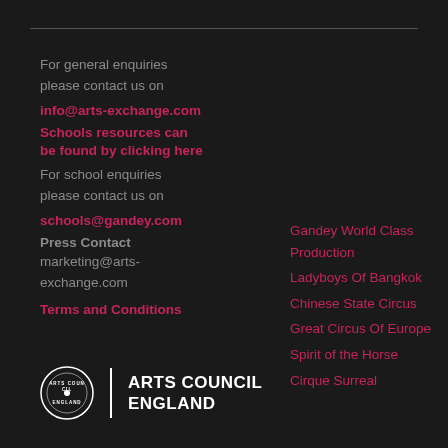For general enquiries please contact us on
info@arts-exchange.com
Schools resources can be found by clicking here
For school enquiries please contact us on
schools@gandey.com
Press Contact
marketing@arts-exchange.com
Terms and Conditions
Gandey World Class Production
Ladyboys Of Bangkok
Chinese State Circus
Great Circus Of Europe
Spirit of the Horse
Cirque Surreal
[Figure (logo): Arts Council England logo with circular badge and text]